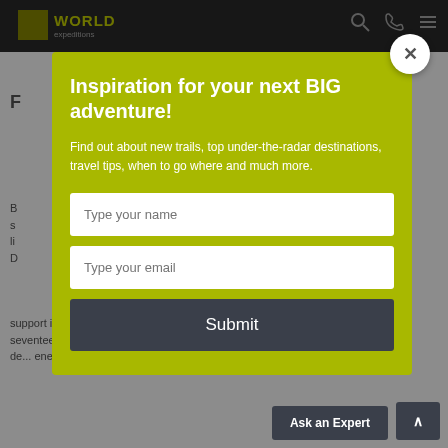WORLD expeditions
Inspiration for your next BIG adventure!
Find out about new trails, top under-the-radar destinations, travel tips, when to go where and much more.
Type your name
Type your email
Submit
support important projects that address the UN's seventeen SDGs, like reducing poverty, affordable and de... energy, reducing hunger, clean water
Ask an Expert